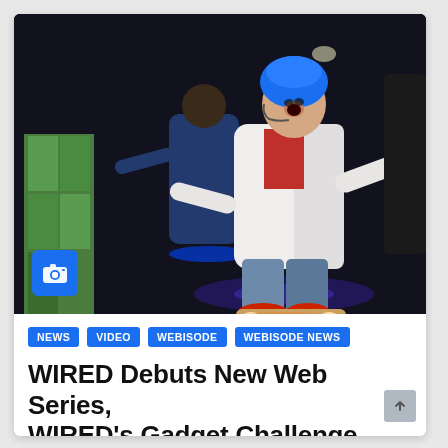[Figure (photo): A person in a white lab coat, blue helmet, and red shoes riding a glowing skateboard in a dark indoor setting, crouching in motion with arms outstretched. Another person on a hoverboard is visible in the background.]
NEWS
VIDEO
WEBISODE
WEBISODE NEWS
WIRED Debuts New Web Series, WIRED's Gadget Challenge